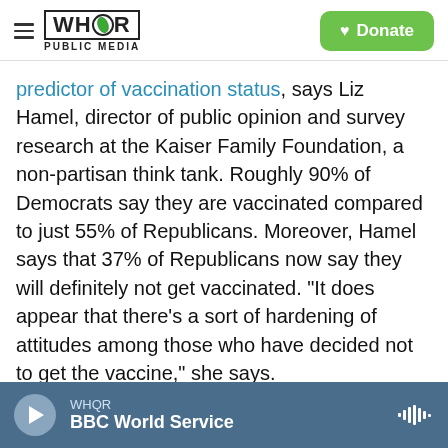WHQR PUBLIC MEDIA — Donate
predictor of vaccination status, says Liz Hamel, director of public opinion and survey research at the Kaiser Family Foundation, a non-partisan think tank. Roughly 90% of Democrats say they are vaccinated compared to just 55% of Republicans. Moreover, Hamel says that 37% of Republicans now say they will definitely not get vaccinated. "It does appear that there's a sort of hardening of attitudes among those who have decided not to get the vaccine," she says.
Hamel says that previous polling has shown that belief in misinformation is highly correlated with
WHQR — BBC World Service